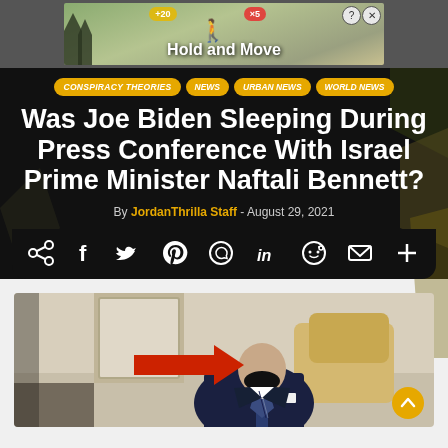[Figure (screenshot): Advertisement banner showing Hold and Move ad with outdoor image and close/help buttons]
CONSPIRACY THEORIES  NEWS  URBAN NEWS  WORLD NEWS
Was Joe Biden Sleeping During Press Conference With Israel Prime Minister Naftali Bennett?
By JordanThrilla Staff - August 29, 2021
[Figure (screenshot): Social share bar with icons: share, facebook, twitter, pinterest, whatsapp, linkedin, reddit, email, more]
[Figure (photo): Photo of Joe Biden appearing to have his head down at press conference, with a red arrow pointing at him]